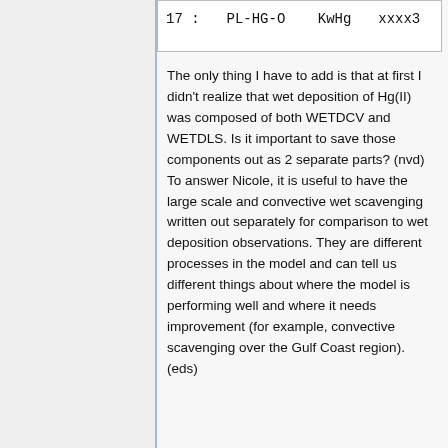| 17 : | PL-HG-O | KwHg | xxxx3 |
The only thing I have to add is that at first I didn't realize that wet deposition of Hg(II) was composed of both WETDCV and WETDLS. Is it important to save those components out as 2 separate parts? (nvd) To answer Nicole, it is useful to have the large scale and convective wet scavenging written out separately for comparison to wet deposition observations. They are different processes in the model and can tell us different things about where the model is performing well and where it needs improvement (for example, convective scavenging over the Gulf Coast region). (eds)